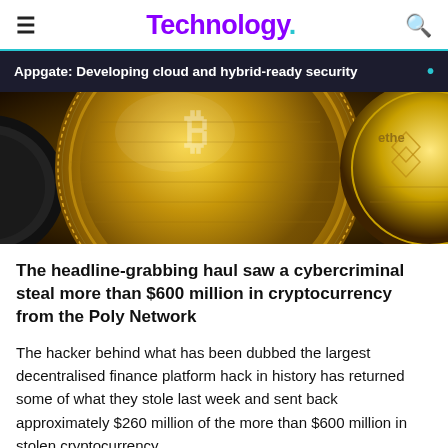Technology.
Appgate: Developing cloud and hybrid-ready security
[Figure (photo): Close-up photograph of gold cryptocurrency coins (Bitcoin and Ethereum) arranged together]
The headline-grabbing haul saw a cybercriminal steal more than $600 million in cryptocurrency from the Poly Network
The hacker behind what has been dubbed the largest decentralised finance platform hack in history has returned some of what they stole last week and sent back approximately $260 million of the more than $600 million in stolen cryptocurrency.
The Poly Network -- a "DeFi" platform that works